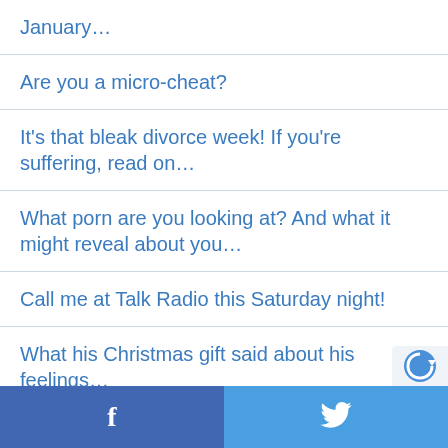January…
Are you a micro-cheat?
It's that bleak divorce week! If you're suffering, read on…
What porn are you looking at? And what it might reveal about you…
Call me at Talk Radio this Saturday night!
What his Christmas gift said about his feelings…
Did thoughts of your ex spoil your Christmas and New Year? read on
f | Twitter bird icon